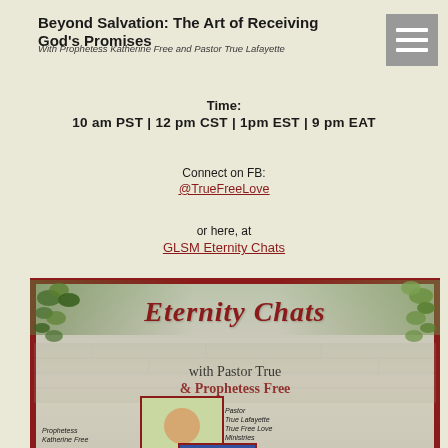Beyond Salvation: The Art of Receiving God's Promises
With Prophetess Katherine Free and Pastor True Lafayette
Time:
10 am PST  |  12 pm CST | 1pm EST | 9 pm EAT
Connect on FB:
@TrueFreeLove
or here, at
GLSM Eternity Chats
[Figure (photo): Promotional image for 'Eternity Chats with Pastor True & Prophetess Free' showing two women (Pastor True Lafayette and Prophetess Katherine Free) against a stone wall background with ivy, in red and dark text branding.]